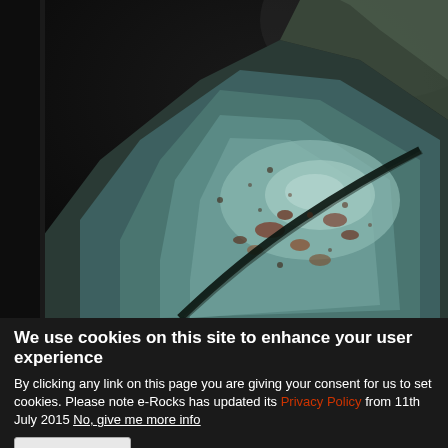[Figure (photo): Close-up macro photograph of a mineral rock specimen with teal/green and brown coloration against a dark background]
We use cookies on this site to enhance your user experience
By clicking any link on this page you are giving your consent for us to set cookies. Please note e-Rocks has updated its Privacy Policy from 11th July 2015 No, give me more info
OK, I agree